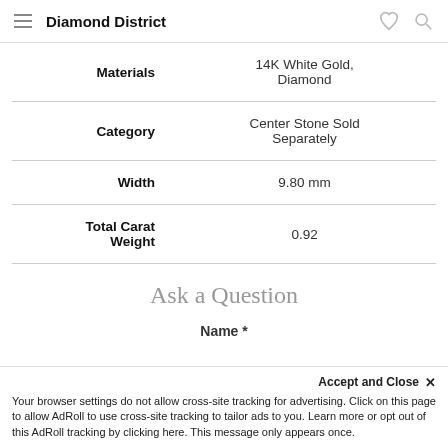Diamond District
| Attribute | Value |
| --- | --- |
| Materials | 14K White Gold, Diamond |
| Category | Center Stone Sold Separately |
| Width | 9.80 mm |
| Total Carat Weight | 0.92 |
Ask a Question
Name *
Accept and Close ×
Your browser settings do not allow cross-site tracking for advertising. Click on this page to allow AdRoll to use cross-site tracking to tailor ads to you. Learn more or opt out of this AdRoll tracking by clicking here. This message only appears once.